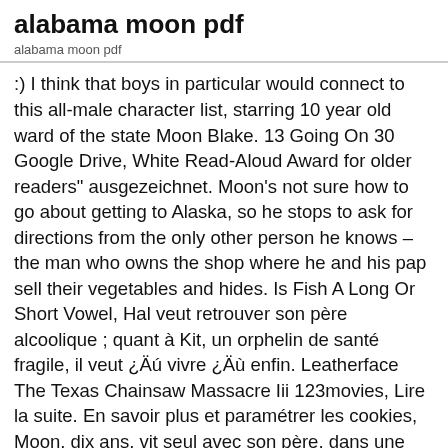alabama moon pdf
alabama moon pdf
:) I think that boys in particular would connect to this all-male character list, starring 10 year old ward of the state Moon Blake. 13 Going On 30 Google Drive, White Read-Aloud Award for older readers" ausgezeichnet. Moon's not sure how to go about getting to Alaska, so he stops to ask for directions from the only other person he knows – the man who owns the shop where he and his pap sell their vegetables and hides. Is Fish A Long Or Short Vowel, Hal veut retrouver son père alcoolique ; quant à Kit, un orphelin de santé fragile, il veut ¿Äú vivre ¿Äù enfin. Leatherface The Texas Chainsaw Massacre Iii 123movies, Lire la suite. En savoir plus et paramétrer les cookies, Moon, dix ans, vit seul avec son père, dans une forêt de l'Alabama, loin des hommes et de la société. This internal conflict was interesting, but eventually he did the most logical choice.